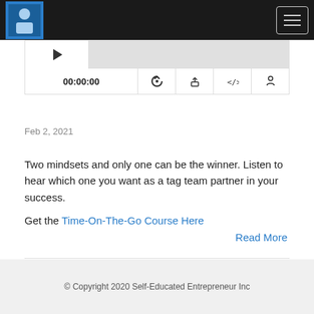[Figure (screenshot): Navigation bar with logo icon on the left and hamburger menu button on the right, dark background]
[Figure (screenshot): Audio player with play button, progress bar, time display 00:00:00, and control icons for RSS, download, embed code, and share]
Feb 2, 2021
Two mindsets and only one can be the winner. Listen to hear which one you want as a tag team partner in your success.
Get the Time-On-The-Go Course Here
Read More
© Copyright 2020 Self-Educated Entrepreneur Inc